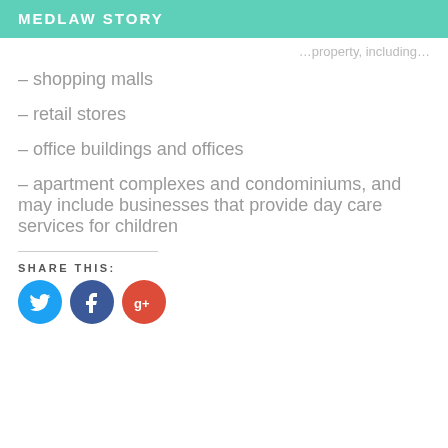MEDLAW STORY
…property, including…
– shopping malls
– retail stores
– office buildings and offices
– apartment complexes and condominiums, and may include businesses that provide day care services for children
SHARE THIS:
[Figure (other): Social media share buttons: Twitter (blue bird), Facebook (blue f), Google+ (red g+)]